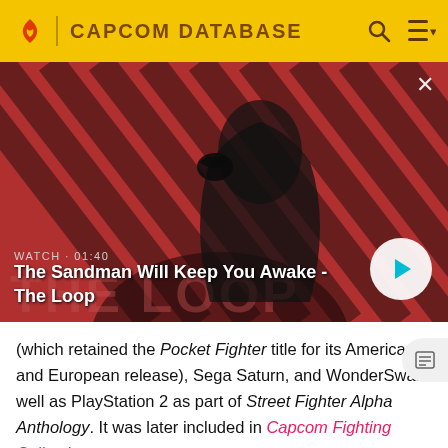CAPCOM DATABASE
[Figure (screenshot): Video thumbnail showing a dark-cloaked figure with a raven on their shoulder against a red and black diagonal striped background. Overlay text reads: WATCH • 01:40. Title: The Sandman Will Keep You Awake - The Loop. Play button visible on right.]
(which retained the Pocket Fighter title for its American and European release), Sega Saturn, and WonderSwan well as PlayStation 2 as part of Street Fighter Alpha Anthology. It was later included in Capcom Fighting Collection.